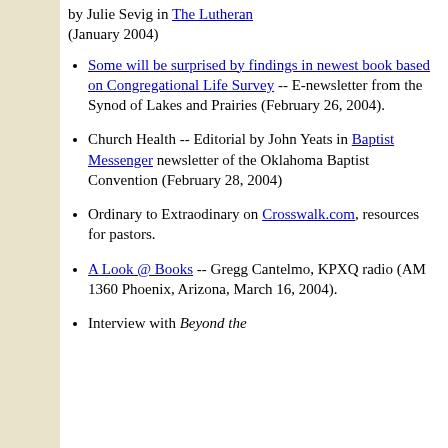by Julie Sevig in The Lutheran (January 2004)
Some will be surprised by findings in newest book based on Congregational Life Survey -- E-newsletter from the Synod of Lakes and Prairies (February 26, 2004).
Church Health -- Editorial by John Yeats in Baptist Messenger newsletter of the Oklahoma Baptist Convention (February 28, 2004)
Ordinary to Extraodinary on Crosswalk.com, resources for pastors.
A Look @ Books -- Gregg Cantelmo, KPXQ radio (AM 1360 Phoenix, Arizona, March 16, 2004).
Interview with Beyond the ...